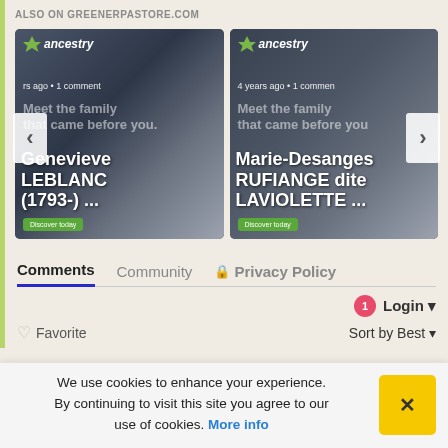ALSO ON GREENERPASTORE.COM
[Figure (screenshot): Two Ancestry.com ad cards side by side. Left card: ancestry logo, 'rs ago • 1 comment', title 'Genevieve LEBLANC (1793-) ...' with 'Meet the family that came before you.' ad text and Discover Today button. Right card: ancestry logo, '4 years ago • 1 comment', title 'Marie-Desanges RUFIANGE dite LAVIOLETTE ...' with same ad text and Discover Today button. Navigation arrows on left and right sides.]
Comments
Community
🔒 Privacy Policy
1 Login ▾
♡ Favorite
Sort by Best ▾
We use cookies to enhance your experience. By continuing to visit this site you agree to our use of cookies. More info